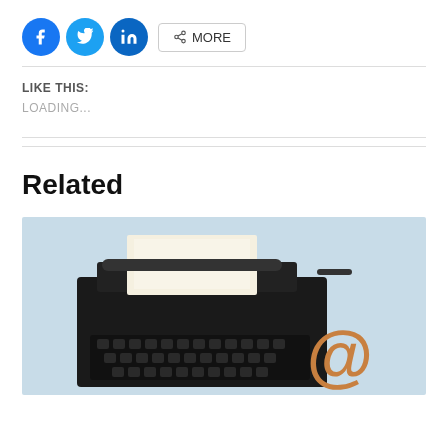[Figure (infographic): Social sharing buttons: Facebook (blue circle), Twitter (blue circle), LinkedIn (blue circle), and a MORE button with share icon]
LIKE THIS:
LOADING...
Related
[Figure (photo): Photo of a vintage black typewriter with a blank white page inserted, next to a wooden @ symbol, against a light blue background]